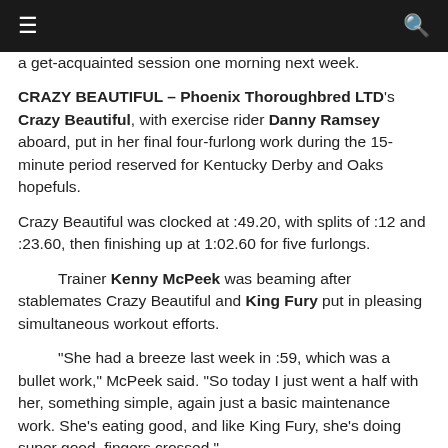≡  🔍
a get-acquainted session one morning next week.
CRAZY BEAUTIFUL – Phoenix Thoroughbred LTD's Crazy Beautiful, with exercise rider Danny Ramsey aboard, put in her final four-furlong work during the 15-minute period reserved for Kentucky Derby and Oaks hopefuls.
Crazy Beautiful was clocked at :49.20, with splits of :12 and :23.60, then finishing up at 1:02.60 for five furlongs.
Trainer Kenny McPeek was beaming after stablemates Crazy Beautiful and King Fury put in pleasing simultaneous workout efforts.
“She had a breeze last week in :59, which was a bullet work,” McPeek said. “So today I just went a half with her, something simple, again just a basic maintenance work. She’s eating good, and like King Fury, she’s doing super good, fingers crossed.”
The filly is third on the Oaks leaderboard, after winning the Gulfstream Park Oaks (GII) in her most recent outing.